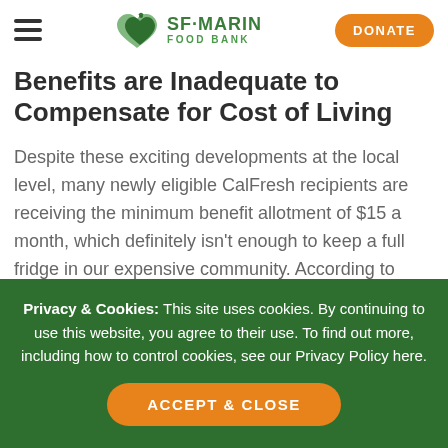SF-MARIN FOOD BANK | DONATE
Benefits are Inadequate to Compensate for Cost of Living
Despite these exciting developments at the local level, many newly eligible CalFresh recipients are receiving the minimum benefit allotment of $15 a month, which definitely isn't enough to keep a full fridge in our expensive community. According to Feeding America's
Privacy & Cookies: This site uses cookies. By continuing to use this website, you agree to their use. To find out more, including how to control cookies, see our Privacy Policy here.
ACCEPT & CLOSE